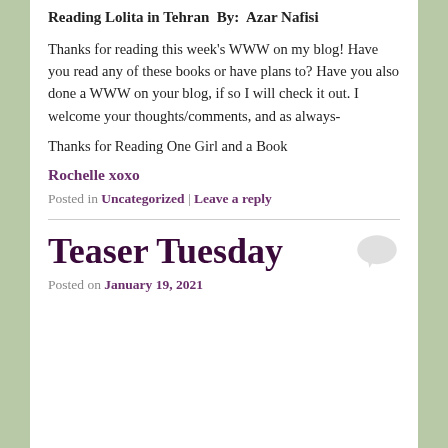Reading Lolita in Tehran  By:  Azar Nafisi
Thanks for reading this week's WWW on my blog! Have you read any of these books or have plans to? Have you also done a WWW on your blog, if so I will check it out. I welcome your thoughts/comments, and as always-
Thanks for Reading One Girl and a Book
Rochelle xoxo
Posted in Uncategorized | Leave a reply
Teaser Tuesday
Posted on January 19, 2021